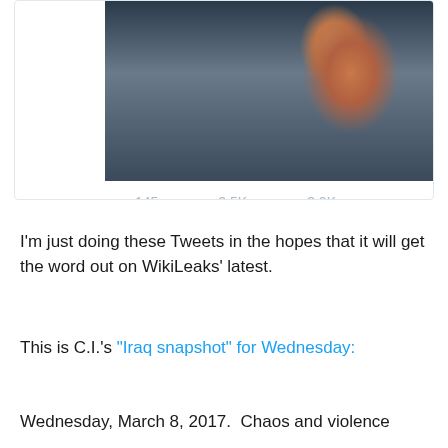[Figure (photo): Cropped photo of a man in a dark suit against a blue curtain background, visible from chest up, serious expression]
145   2.5K   3.0K
I'm just doing these Tweets in the hopes that it will get the word out on WikiLeaks' latest.
This is C.I.'s "Iraq snapshot" for Wednesday:
Wednesday, March 8, 2017.  Chaos and violence